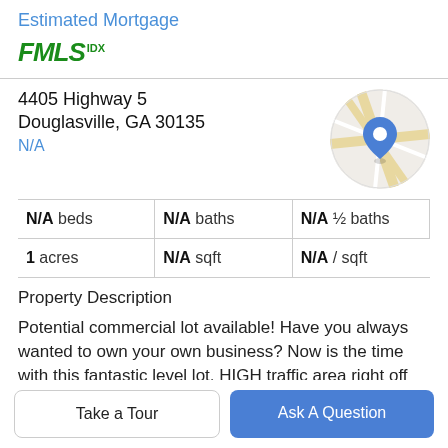Estimated Mortgage
[Figure (logo): FMLS IDX logo in green italic bold text]
4405 Highway 5
Douglasville, GA 30135
N/A
[Figure (map): Circular map thumbnail showing location with blue pin marker]
| N/A beds | N/A baths | N/A ½ baths |
| 1 acres | N/A sqft | N/A / sqft |
Property Description
Potential commercial lot available! Have you always wanted to own your own business? Now is the time with this fantastic level lot, HIGH traffic area right off Highway
Take a Tour
Ask A Question